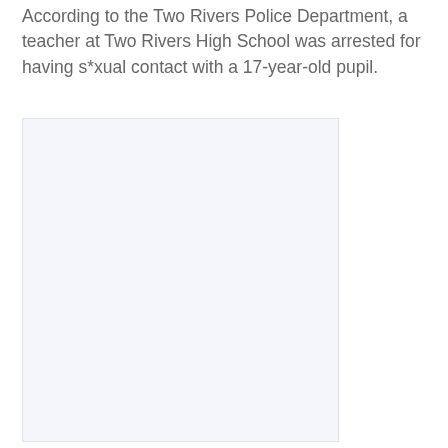According to the Two Rivers Police Department, a teacher at Two Rivers High School was arrested for having s*xual contact with a 17-year-old pupil.
[Figure (photo): A large light-gray/off-white rectangular placeholder image area with a faint border, occupying the lower portion of the page.]